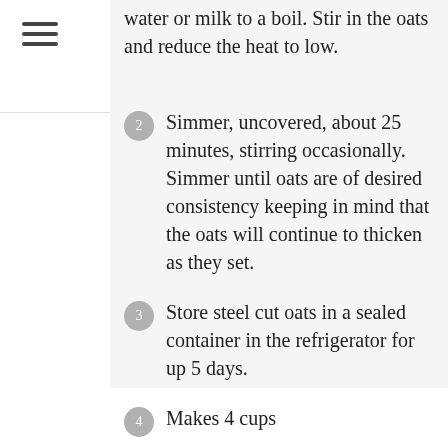water or milk to a boil. Stir in the oats and reduce the heat to low.
Simmer, uncovered, about 25 minutes, stirring occasionally. Simmer until oats are of desired consistency keeping in mind that the oats will continue to thicken as they set.
Store steel cut oats in a sealed container in the refrigerator for up 5 days.
Makes 4 cups